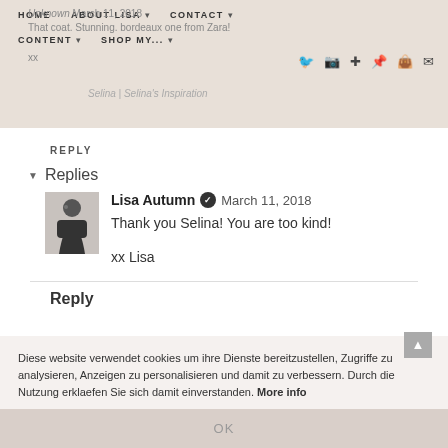HOME  ABOUT LISA  CONTACT  CONTENT  SHOP MY...
Unknown March 11, 2018
That coat. Stunning. bordeaux one from Zara!
xx
Selina | Selina's Inspiration
REPLY
Replies
Lisa Autumn ✓  March 11, 2018
Thank you Selina! You are too kind!

xx Lisa
Reply
Diese website verwendet cookies um ihre Dienste bereitzustellen, Zugriffe zu analysieren, Anzeigen zu personalisieren und damit zu verbessern. Durch die Nutzung erklaefen Sie sich damit einverstanden. More info
OK